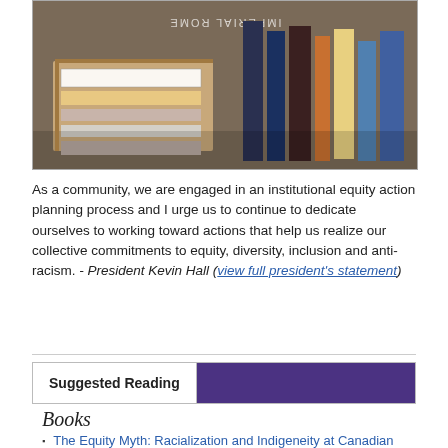[Figure (photo): Photograph of boxes and shelves of books, including a book titled 'Imperial Rome'. The image shows stacked books in cardboard boxes and upright on shelves.]
As a community, we are engaged in an institutional equity action planning process and I urge us to continue to dedicate ourselves to working toward actions that help us realize our collective commitments to equity, diversity, inclusion and anti-racism. - President Kevin Hall (view full president's statement)
Suggested Reading
Books
The Equity Myth: Racialization and Indigeneity at Canadian Universities
Me and White Supremacy: Combat Racism, Change the World, and Become a Good Ancestor
So You Want to Talk About Race
Caste - The Origins of Our Discontents
Situating "Race" and Racisms in Space, Time and Theory: Critical Essays for Activists and Scholars
Unsettling the Settler Within: Indian residential schools, truth telling,